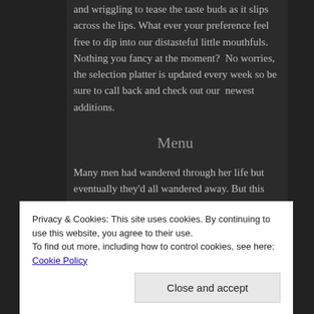and wriggling to tease the taste buds as it slips across the lips. What ever your preference feel free to dip into our distasteful little mouthfuls. Nothing you fancy at the moment?  No worries, the selection platter is updated every week so be sure to call back and check out our newest additions.
Menu
Many men had wandered through her life but eventually they'd all wandered away. But this one, he was staying, she'd broken both his legs so he wouldn't be wandering away.
I have to be in the mood for doing wrong. Some days I
Privacy & Cookies: This site uses cookies. By continuing to use this website, you agree to their use.
To find out more, including how to control cookies, see here: Cookie Policy
Close and accept